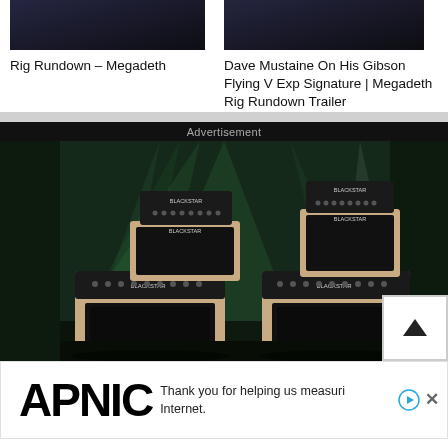[Figure (photo): Dark thumbnail image for Rig Rundown - Megadeth video]
Rig Rundown - Megadeth
[Figure (photo): Dark thumbnail image for Dave Mustaine Gibson Flying V Exp Signature Megadeth Rig Rundown Trailer video]
Dave Mustaine On His Gibson Flying V Exp Signature | Megadeth Rig Rundown Trailer
Advertisement
[Figure (photo): Advertisement photo showing Blackstar guitar amplifiers on a dark stage with green spotlights. Multiple amp heads and combo amps displayed.]
[Figure (photo): APNIC advertisement banner: APNIC logo with text 'Thank you for helping us measure the Internet.']